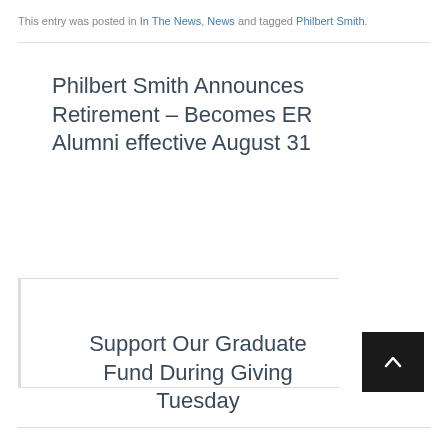This entry was posted in In The News, News and tagged Philbert Smith.
Philbert Smith Announces Retirement – Becomes ER Alumni effective August 31
Support Our Graduate Fund During Giving Tuesday